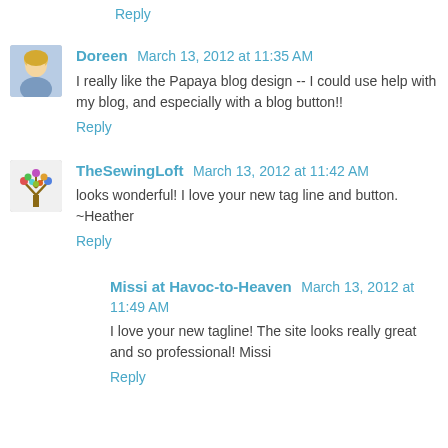Reply
Doreen March 13, 2012 at 11:35 AM
I really like the Papaya blog design -- I could use help with my blog, and especially with a blog button!!
Reply
TheSewingLoft March 13, 2012 at 11:42 AM
looks wonderful! I love your new tag line and button. ~Heather
Reply
Missi at Havoc-to-Heaven March 13, 2012 at 11:49 AM
I love your new tagline! The site looks really great and so professional! Missi
Reply